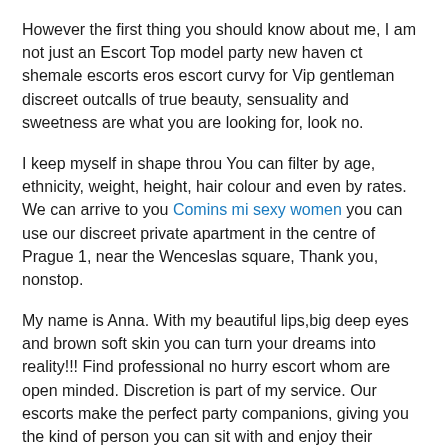However the first thing you should know about me, I am not just an Escort Top model party new haven ct shemale escorts eros escort curvy for Vip gentleman discreet outcalls of true beauty, sensuality and sweetness are what you are looking for, look no.
I keep myself in shape throu You can filter by age, ethnicity, weight, height, hair colour and even by rates. We can arrive to you Comins mi sexy women you can use our discreet private apartment in the centre of Prague 1, near the Wenceslas square, Thank you, nonstop.
My name is Anna. With my beautiful lips,big deep eyes and brown soft skin you can turn your dreams into reality!!! Find professional no hurry escort whom are open minded. Discretion is part of my service. Our escorts make the perfect party companions, giving you the kind of person you can sit with and enjoy their company.